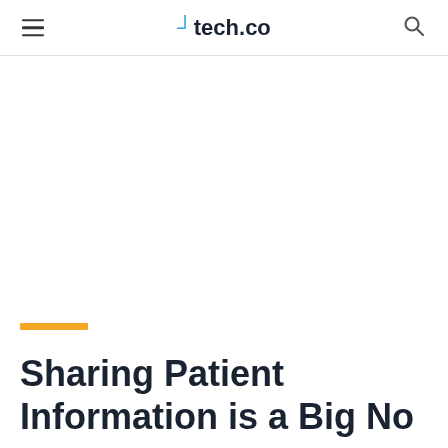tech.co
Sharing Patient Information is a Big No